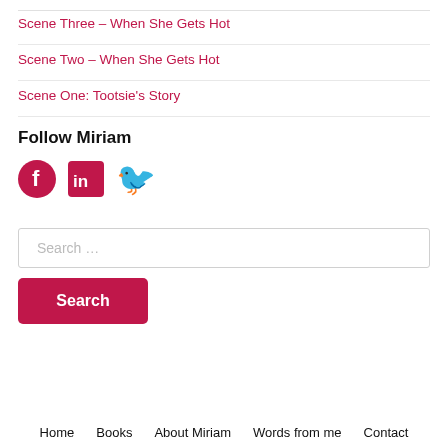Scene Three – When She Gets Hot
Scene Two – When She Gets Hot
Scene One: Tootsie's Story
Follow Miriam
[Figure (infographic): Social media icons: Facebook (circle with f), LinkedIn (square with in), Twitter (bird icon), all in dark red/crimson color]
Search ...
Search
Home    Books    About Miriam    Words from me    Contact